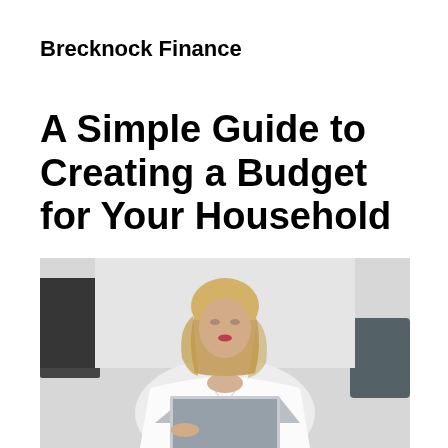Brecknock Finance
A Simple Guide to Creating a Budget for Your Household
[Figure (photo): A blonde woman in a white blouse working on a laptop, photographed from slightly above in a blurred office environment]